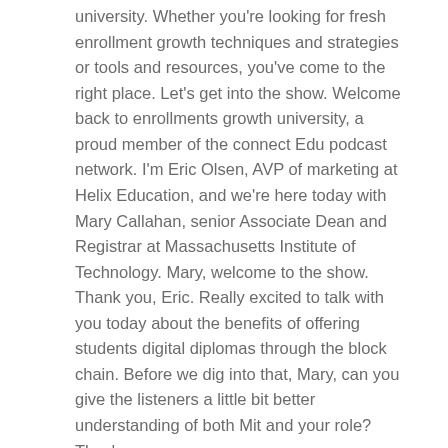university. Whether you're looking for fresh enrollment growth techniques and strategies or tools and resources, you've come to the right place. Let's get into the show. Welcome back to enrollments growth university, a proud member of the connect Edu podcast network. I'm Eric Olsen, AVP of marketing at Helix Education, and we're here today with Mary Callahan, senior Associate Dean and Registrar at Massachusetts Institute of Technology. Mary, welcome to the show. Thank you, Eric. Really excited to talk with you today about the benefits of offering students digital diplomas through the block chain. Before we dig into that, Mary, can you give the listeners a little bit better understanding of both Mit and your role? They're sure so.
00:01:00 - 00:02:02
I'm senior Associate Dean and Registrar, very much involved with the various curricular programs at the institute, scheduling classes, scheduling class